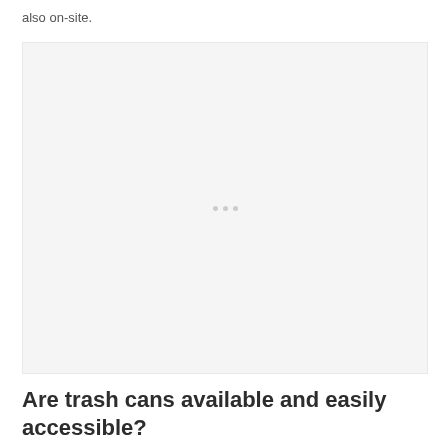also on-site.
[Figure (photo): Large placeholder image area with light gray background and three small dots in the center indicating a loading or empty image placeholder.]
Are trash cans available and easily accessible?